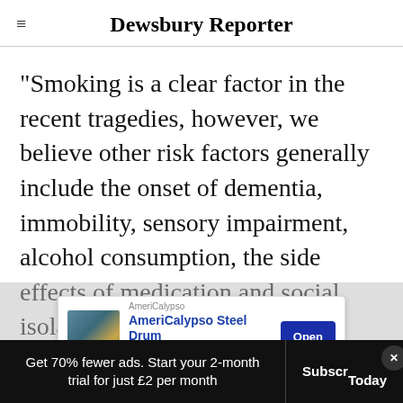Dewsbury Reporter
“Smoking is a clear factor in the recent tragedies, however, we believe other risk factors generally include the onset of dementia, immobility, sensory impairment, alcohol consumption, the side effects of medication and social isolation.
“Ultimately these factors can make it harder for older [people to hear a smoke alarm and m…
[Figure (screenshot): Advertisement overlay for AmeriCalypso Steel Drum Band with an Open button]
Get 70% fewer ads. Start your 2-month trial for just £2 per month
Subscribe Today